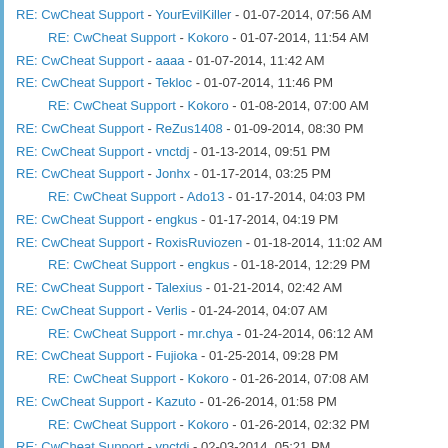RE: CwCheat Support - YourEvilKiller - 01-07-2014, 07:56 AM
RE: CwCheat Support - Kokoro - 01-07-2014, 11:54 AM
RE: CwCheat Support - aaaa - 01-07-2014, 11:42 AM
RE: CwCheat Support - Tekloc - 01-07-2014, 11:46 PM
RE: CwCheat Support - Kokoro - 01-08-2014, 07:00 AM
RE: CwCheat Support - ReZus1408 - 01-09-2014, 08:30 PM
RE: CwCheat Support - vnctdj - 01-13-2014, 09:51 PM
RE: CwCheat Support - Jonhx - 01-17-2014, 03:25 PM
RE: CwCheat Support - Ado13 - 01-17-2014, 04:03 PM
RE: CwCheat Support - engkus - 01-17-2014, 04:19 PM
RE: CwCheat Support - RoxisRuviozen - 01-18-2014, 11:02 AM
RE: CwCheat Support - engkus - 01-18-2014, 12:29 PM
RE: CwCheat Support - Talexius - 01-21-2014, 02:42 AM
RE: CwCheat Support - Verlis - 01-24-2014, 04:07 AM
RE: CwCheat Support - mr.chya - 01-24-2014, 06:12 AM
RE: CwCheat Support - Fujioka - 01-25-2014, 09:28 PM
RE: CwCheat Support - Kokoro - 01-26-2014, 07:08 AM
RE: CwCheat Support - Kazuto - 01-26-2014, 01:58 PM
RE: CwCheat Support - Kokoro - 01-26-2014, 02:32 PM
RE: CwCheat Support - vnctdj - 02-03-2014, 05:21 PM
RE: CwCheat Support - Huggernaut - 02-03-2014, 10:20 PM
RE: CwCheat Support - mr.chya - 02-04-2014, 01:49 AM
RE: CwCheat Support - Luis Mejía - 02-04-2014, 03:23 PM
RE: CwCheat Support - zee_viper@yahoo.in - 02-13-2014, 03:26 PM
RE: CwCheat Support - ...